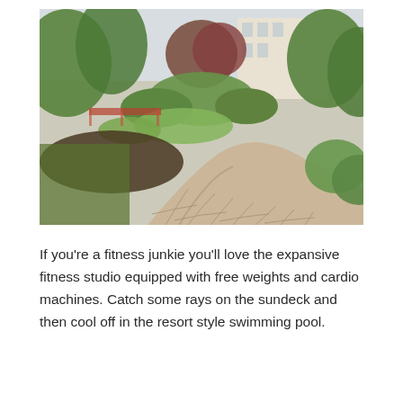[Figure (photo): Outdoor courtyard garden with a curved stone flagstone path leading through lush green plantings, shrubs, ornamental grasses, and trees. A multi-story residential building is visible in the background among the foliage. Sunlight illuminates the scene on a bright day.]
If you're a fitness junkie you'll love the expansive fitness studio equipped with free weights and cardio machines. Catch some rays on the sundeck and then cool off in the resort style swimming pool.